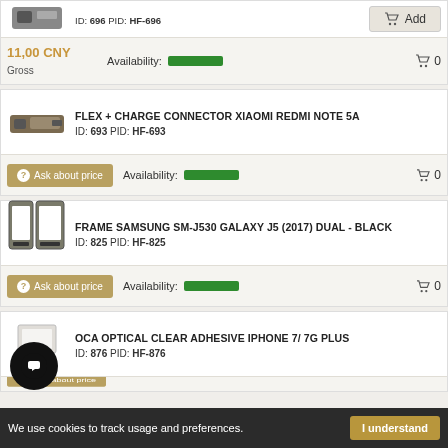ID: 696  PID: HF-696
11,00 CNY
Gross
Availability:
0
FLEX + CHARGE CONNECTOR XIAOMI REDMI NOTE 5A
ID: 693  PID: HF-693
Ask about price
Availability:
0
FRAME SAMSUNG SM-J530 GALAXY J5 (2017) DUAL - BLACK
ID: 825  PID: HF-825
Ask about price
Availability:
0
OCA OPTICAL CLEAR ADHESIVE IPHONE 7/ 7G PLUS
ID: 876  PID: HF-876
We use cookies to track usage and preferences.
I understand